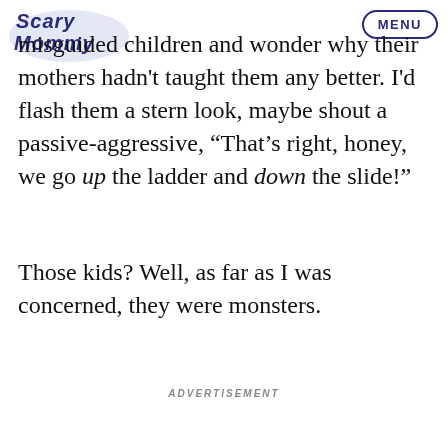Scary Mommy | MENU
misguided children and wonder why their mothers hadn't taught them any better. I'd flash them a stern look, maybe shout a passive-aggressive, “That’s right, honey, we go up the ladder and down the slide!”
Those kids? Well, as far as I was concerned, they were monsters.
ADVERTISEMENT